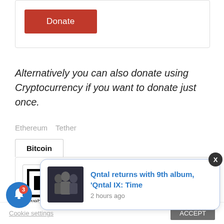[Figure (other): Red Donate button inside a bordered box]
Alternatively you can also donate using Cryptocurrency if you want to donate just once.
Ethereum   Tether
Bitcoin
[Figure (other): Partial QR code for Bitcoin donations]
This website us... ume you're...
[Figure (other): Notification popup: Qntal returns with 9th album, 'Qntal IX: Time — 2 hours ago]
Cookie settings
ACCEPT